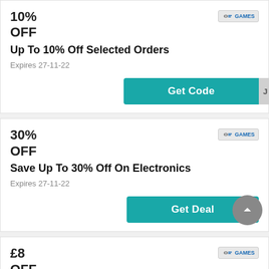10%
OFF
Up To 10% Off Selected Orders
Expires 27-11-22
Get Code
30%
OFF
Save Up To 30% Off On Electronics
Expires 27-11-22
Get Deal
£8
OFF
Save Huge From Only £8 With Consoles And Gadgets Discounts